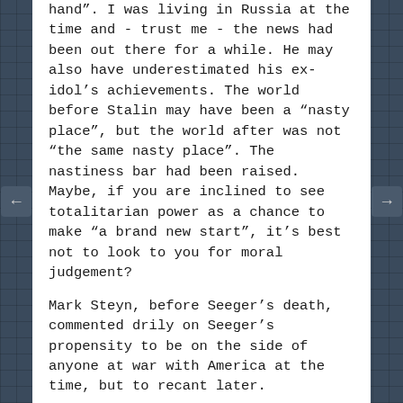hand". I was living in Russia at the time and - trust me - the news had been out there for a while. He may also have underestimated his ex-idol's achievements. The world before Stalin may have been a "nasty place", but the world after was not "the same nasty place". The nastiness bar had been raised. Maybe, if you are inclined to see totalitarian power as a chance to make "a brand new start", it's best not to look to you for moral judgement?
Mark Steyn, before Seeger's death, commented drily on Seeger's propensity to be on the side of anyone at war with America at the time, but to recant later.
I can't wait for his anti-Osama album circa 2078